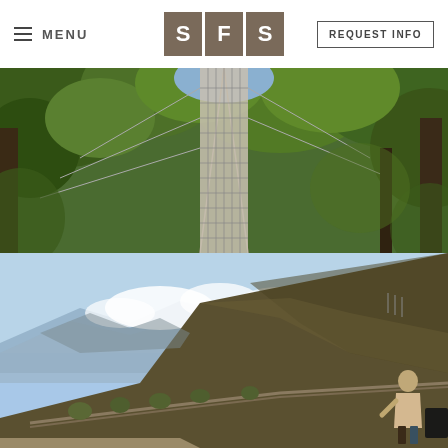MENU | SFS | REQUEST INFO
[Figure (photo): Aerial view of a suspension/canopy bridge over a lush tropical forest with green foliage]
[Figure (photo): A person standing on a mountain road looking out over a vast mountain valley with haze and blue sky, Andes-style landscape]